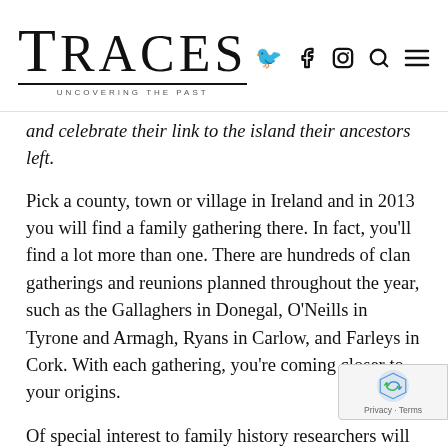TRACES - Uncovering the Past
and celebrate their link to the island their ancestors left.
Pick a county, town or village in Ireland and in 2013 you will find a family gathering there. In fact, you'll find a lot more than one. There are hundreds of clan gatherings and reunions planned throughout the year, such as the Gallaghers in Donegal, O'Neills in Tyrone and Armagh, Ryans in Carlow, and Farleys in Cork. With each gathering, you're coming closer to your origins.
Of special interest to family history researchers will be The Gathering's Morpeth Roll Exhibition Tour. The 400-metre long Morpeth Roll was signed by nearly 200,000 people in 1841 to farewell Lord Morpeth upon his departure from the office of Chief Secretary for Ireland. In 2013 you can see it at Farmleigh, Belfast, Kilkenny, Derrynane or Clonmel. Volunteers are currently digitising the document as part of